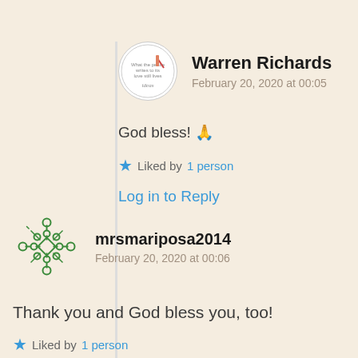Warren Richards
February 20, 2020 at 00:05
God bless! 🙏
★ Liked by 1 person
Log in to Reply
[Figure (illustration): Avatar icon for mrsmariposa2014 - green ornamental snowflake/mandala design]
mrsmariposa2014
February 20, 2020 at 00:06
Thank you and God bless you, too!
★ Liked by 1 person